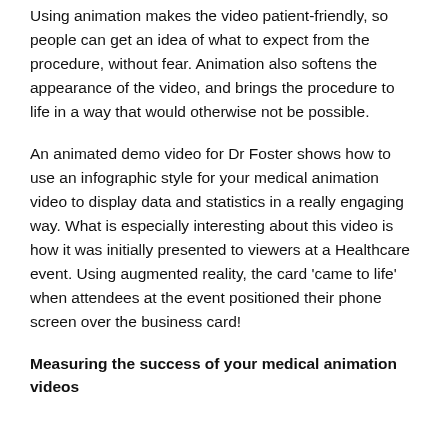Using animation makes the video patient-friendly, so people can get an idea of what to expect from the procedure, without fear. Animation also softens the appearance of the video, and brings the procedure to life in a way that would otherwise not be possible.
An animated demo video for Dr Foster shows how to use an infographic style for your medical animation video to display data and statistics in a really engaging way. What is especially interesting about this video is how it was initially presented to viewers at a Healthcare event. Using augmented reality, the card 'came to life' when attendees at the event positioned their phone screen over the business card!
Measuring the success of your medical animation videos